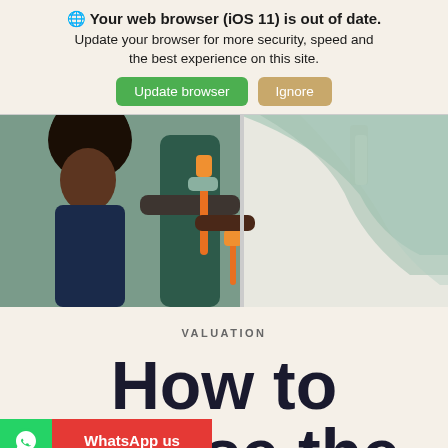🌐 Your web browser (iOS 11) is out of date. Update your browser for more security, speed and the best experience on this site.
Update browser | Ignore
[Figure (photo): A child and adult painting a wall with mint green paint using orange-handled paint rollers]
VALUATION
How to
WhatsApp us